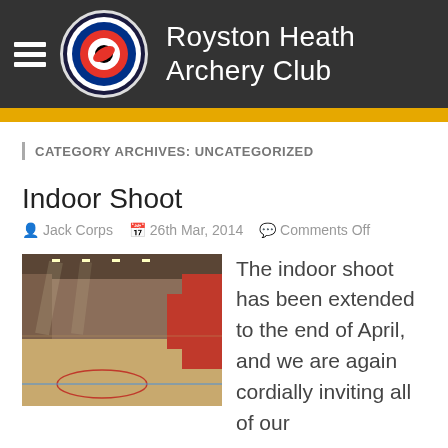Royston Heath Archery Club
CATEGORY ARCHIVES: UNCATEGORIZED
Indoor Shoot
Jack Corps  26th Mar, 2014  Comments Off
[Figure (photo): Indoor sports hall with wooden floor, basketball court markings, red walls and ceiling lights]
The indoor shoot has been extended to the end of April, and we are again cordially inviting all of our